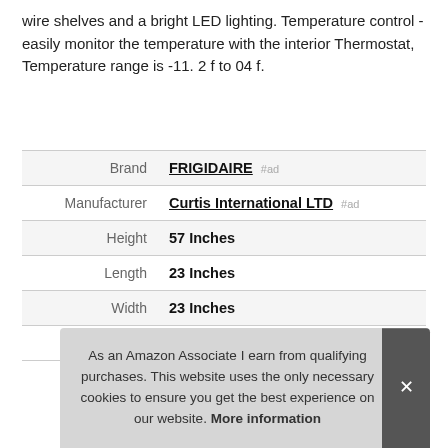wire shelves and a bright LED lighting. Temperature control - easily monitor the temperature with the interior Thermostat, Temperature range is -11. 2 f to 04 f.
|  |  |
| --- | --- |
| Brand | FRIGIDAIRE #ad |
| Manufacturer | Curtis International LTD #ad |
| Height | 57 Inches |
| Length | 23 Inches |
| Width | 23 Inches |
| Part Number | EFRF696-AMZ |
As an Amazon Associate I earn from qualifying purchases. This website uses the only necessary cookies to ensure you get the best experience on our website. More information